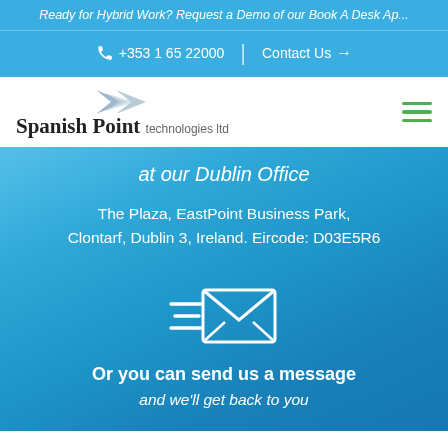Ready for Hybrid Work? Request a Demo of our Book A Desk Ap...
+353 1 65 22000 | Contact Us →
[Figure (logo): Spanish Point technologies ltd logo with two grey arrow shapes]
at our Dublin Office
The Plaza, EastPoint Business Park, Clontarf, Dublin 3, Ireland. Eircode: D03E5R6
[Figure (illustration): White envelope icon with speed lines indicating a fast message being sent]
Or you can send us a message
and we'll get back to you